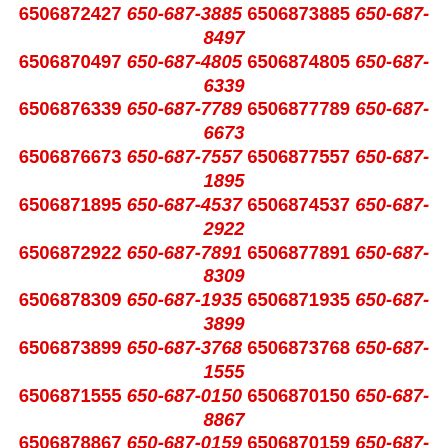6506872427 650-687-3885 6506873885 650-687-8497 6506870497 650-687-4805 6506874805 650-687-6339 6506876339 650-687-7789 6506877789 650-687-6673 6506876673 650-687-7557 6506877557 650-687-1895 6506871895 650-687-4537 6506874537 650-687-2922 6506872922 650-687-7891 6506877891 650-687-8309 6506878309 650-687-1935 6506871935 650-687-3899 6506873899 650-687-3768 6506873768 650-687-1555 6506871555 650-687-0150 6506870150 650-687-8867 6506878867 650-687-0159 6506870159 650-687-0184 6506870184 650-687-8430 6506878430 650-687-7156 6506877156 650-687-8839 6506878839 650-687-7162 6506877162 650-687-4636 6506874636 650-687-2224 6506872224 650-687-8288 6506878288 650-687-6692 6506876692 650-687-1414 6506871414 650-687-5834 6506875834 650-687-7034 6506877034 650-687-5189 6506875189 650-687-1418 6506871418 650-687-1813 6506871813 650-687-9653 6506879653 650-687-5483 6506875483 650-687-4953 6506874953 650-687-9213 6506879213 650-687-0719 6506870719 650-687-4126 6506874126 650-687-0162 6506870162 650-687-8993 6506878993 650-687-5914 6506875914 650-687-9507 6506879507 650-687-2513 6506872513 650-687-4070 6506874070 650-687-2140 6506872140 650-687-2690 6506872690 650-687-1071 6506871071 650-687-8146 6506878146 650-687-2044 6506872044 650-687-5419